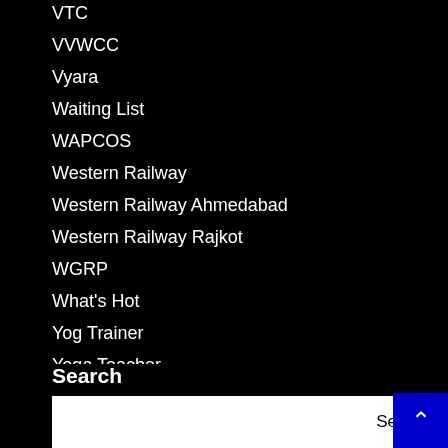VTC
VVWCC
Vyara
Waiting List
WAPCOS
Western Railway
Western Railway Ahmedabad
Western Railway Rajkot
WGRP
What's Hot
Yog Trainer
Yoga Teacher
Search